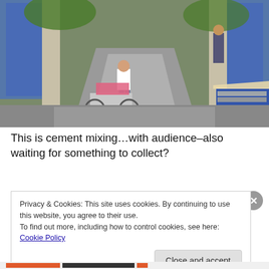[Figure (photo): Outdoor scene of a street or compound entrance with blue gates open. A person in a white shirt stands with a bicycle cart loaded with pink/colorful goods in the foreground. Another person is visible in the upper right near a wall. A vendor stall with striped awning is visible at the bottom right. The road is wet/concrete and slopes upward through the gate.]
This is cement mixing…with audience–also waiting for something to collect?
Privacy & Cookies: This site uses cookies. By continuing to use this website, you agree to their use.
To find out more, including how to control cookies, see here: Cookie Policy